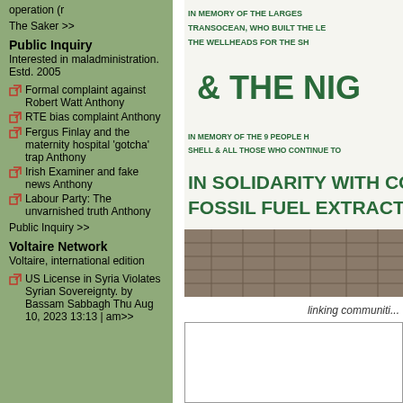operation (r
The Saker >>
Public Inquiry
Interested in maladministration. Estd. 2005
Formal complaint against Robert Watt Anthony
RTE bias complaint Anthony
Fergus Finlay and the maternity hospital 'gotcha' trap Anthony
Irish Examiner and fake news Anthony
Labour Party: The unvarnished truth Anthony
Public Inquiry >>
Voltaire Network
Voltaire, international edition
US License in Syria Violates Syrian Sovereignty. by Bassam Sabbagh Thu Aug 10, 2023 13:13 | am>>
[Figure (photo): Protest banner reading: IN MEMORY OF THE LARGEST... TRANSOCEAN, WHO BUILT THE LE... THE WELLHEADS FOR THE SH... & THE NIG... IN MEMORY OF THE 9 PEOPLE H... SHELL & ALL THOSE WHO CONTINUE TO... IN SOLIDARITY WITH CO... FOSSIL FUEL EXTRACTO...]
linking communiti...
[Figure (other): White box/second content area below the photo]